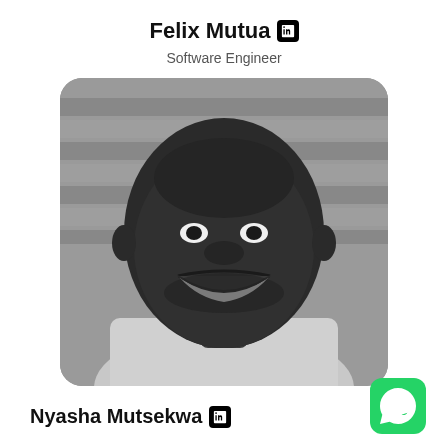Felix Mutua
Software Engineer
[Figure (photo): Black and white portrait photo of a smiling man with a beard, wearing a light jacket, against a wooden slatted background]
Nyasha Mutsekwa